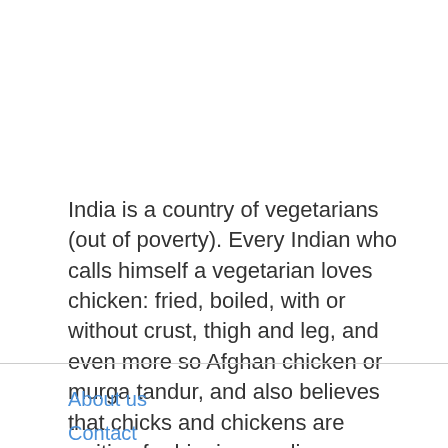India is a country of vegetarians (out of poverty). Every Indian who calls himself a vegetarian loves chicken: fried, boiled, with or without crust, thigh and leg, and even more so Afghan chicken or murga tandur, and also believes that chicks and chickens are waiting for him in paradise.
About us
Contact
Privacy Policy & Cookies